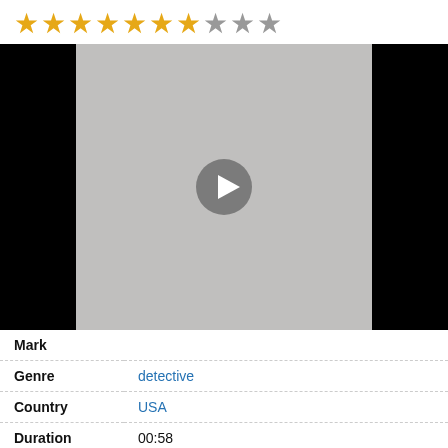[Figure (other): Star rating row showing 7 filled gold stars and 3 empty grey stars]
[Figure (other): Video player thumbnail with grey center panel and play button, black bars on left and right sides]
| Mark |  |
| Genre | detective |
| Country | USA |
| Duration | 00:58 |
| Characters | Superhero, Robots, Partners, Losers, |